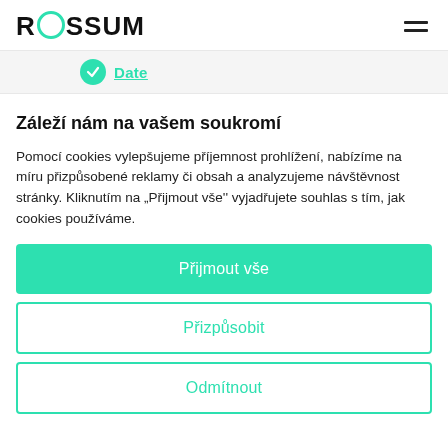ROSSUM
Date
Záleží nám na vašem soukromí
Pomocí cookies vylepšujeme příjemnost prohlížení, nabízíme na míru přizpůsobené reklamy či obsah a analyzujeme návštěvnost stránky. Kliknutím na „Přijmout vše'' vyjadřujete souhlas s tím, jak cookies používáme.
Přijmout vše
Přizpůsobit
Odmítnout